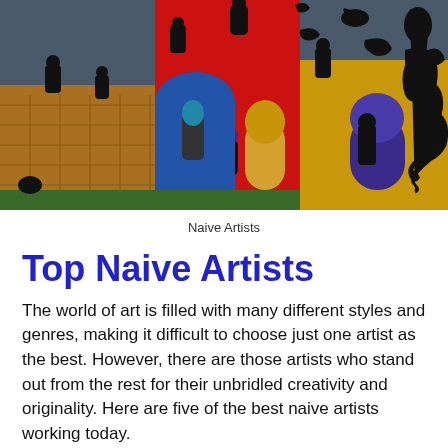[Figure (illustration): A colorful naive-style painting featuring a large red tower/castle structure with gold/yellow sections, surrounded by black silhouette figures of people and animals including a large seahorse on the right side, set against a dark blue-grey background.]
Naive Artists
Top Naive Artists
The world of art is filled with many different styles and genres, making it difficult to choose just one artist as the best. However, there are those artists who stand out from the rest for their unbridled creativity and originality. Here are five of the best naive artists working today.